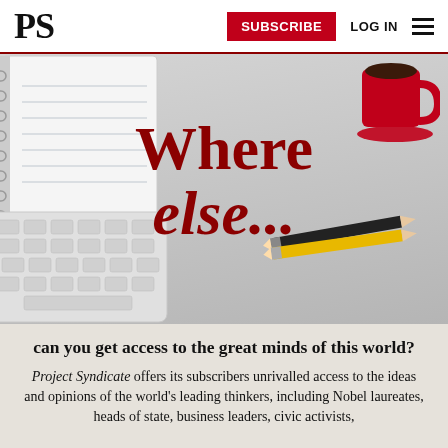PS | SUBSCRIBE LOG IN
[Figure (photo): Hero image showing a desk scene with a spiral notebook (top-left), red coffee cup with saucer (top-right), two pencils (right-center), and a white keyboard (bottom-left) on a light gray background. Large red bold italic text reads 'Where else...' overlaid in the center.]
can you get access to the great minds of this world?
Project Syndicate offers its subscribers unrivalled access to the ideas and opinions of the world's leading thinkers, including Nobel laureates, heads of state, business leaders, civic activists,